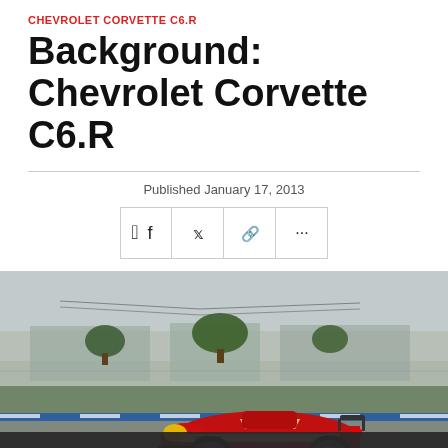CHEVROLET CORVETTE C6.R
Background: Chevrolet Corvette C6.R
Published January 17, 2013
[Figure (photo): Red Chevrolet Corvette C6.R race car number 64 on a race track with pit lane barriers and trees in the background, overcast sky]
[Figure (infographic): Bottom share bar with Facebook, Twitter, link, and more icons on dark background]